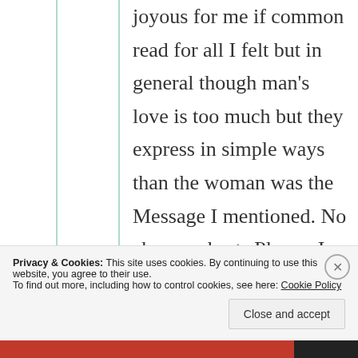joyous for me if common read for all I felt but in general though man's love is too much but they express in simple ways than the woman was the Message I mentioned. No abuse or hurts Please. I am telling once again I never meant that way n I won't be as well. I have
Privacy & Cookies: This site uses cookies. By continuing to use this website, you agree to their use.
To find out more, including how to control cookies, see here: Cookie Policy
Close and accept